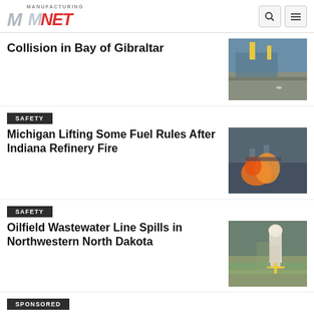Manufacturing.net
Collision in Bay of Gibraltar
[Figure (photo): Large ship/vessel at sea near dock, aerial or waterfront view]
SAFETY
Michigan Lifting Some Fuel Rules After Indiana Refinery Fire
[Figure (photo): Industrial refinery fire with large flames and pipes]
SAFETY
Oilfield Wastewater Line Spills in Northwestern North Dakota
[Figure (photo): Worker in hard hat and high-visibility vest at industrial water treatment facility]
SPONSORED